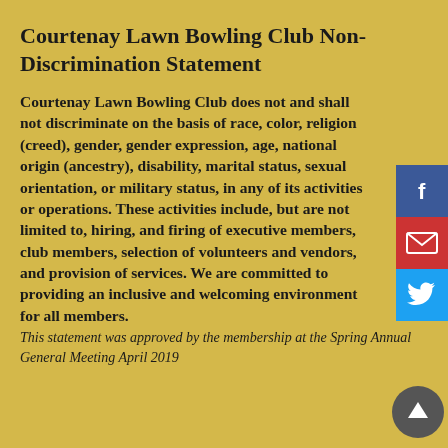Courtenay Lawn Bowling Club Non-Discrimination Statement
Courtenay Lawn Bowling Club does not and shall not discriminate on the basis of race, color, religion (creed), gender, gender expression, age, national origin (ancestry), disability, marital status, sexual orientation, or military status, in any of its activities or operations. These activities include, but are not limited to, hiring, and firing of executive members, club members, selection of volunteers and vendors, and provision of services. We are committed to providing an inclusive and welcoming environment for all members.
This statement was approved by the membership at the Spring Annual General Meeting April 2019